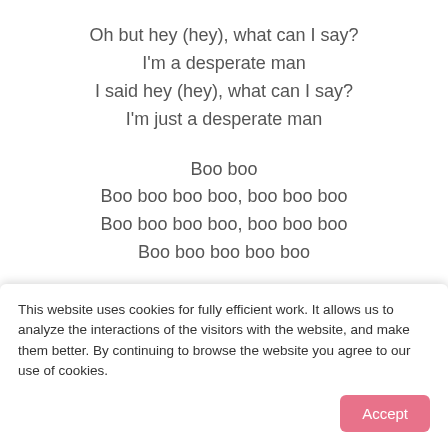Oh but hey (hey), what can I say?
I'm a desperate man
I said hey (hey), what can I say?
I'm just a desperate man
Boo boo
Boo boo boo boo, boo boo boo
Boo boo boo boo, boo boo boo
Boo boo boo boo boo
Fortuneteller told me
"No more last chances
Oh but I ain't listenin
Oh but to our gypsy
Then a crucifix to a bedroom wall
This website uses cookies for fully efficient work. It allows us to analyze the interactions of the visitors with the website, and make them better. By continuing to browse the website you agree to our use of cookies.